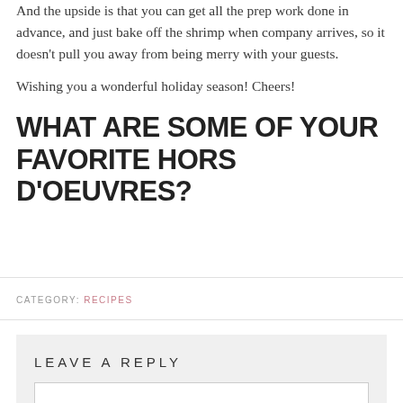And the upside is that you can get all the prep work done in advance, and just bake off the shrimp when company arrives, so it doesn't pull you away from being merry with your guests.
Wishing you a wonderful holiday season! Cheers!
WHAT ARE SOME OF YOUR FAVORITE HORS D'OEUVRES?
CATEGORY: RECIPES
LEAVE A REPLY